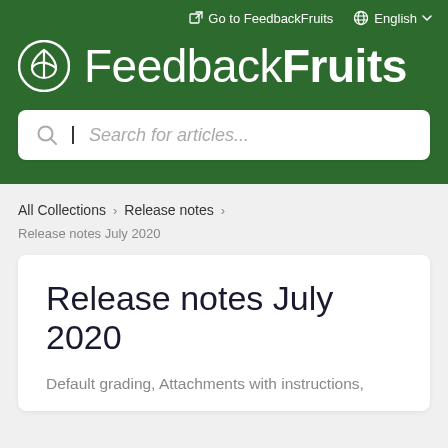Go to FeedbackFruits   English
FeedbackFruits
Search for articles...
All Collections > Release notes
Release notes July 2020
Release notes July 2020
Default grading, Attachments with instructions,